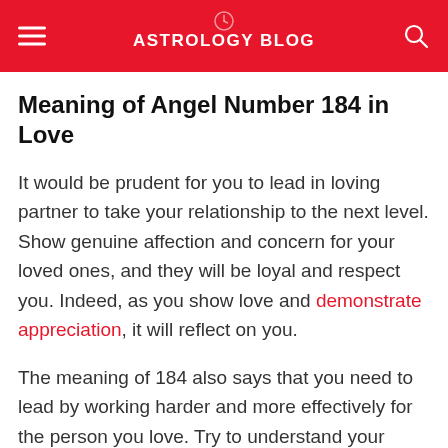ASTROLOGY BLOG
Meaning of Angel Number 184 in Love
It would be prudent for you to lead in loving partner to take your relationship to the next level. Show genuine affection and concern for your loved ones, and they will be loyal and respect you. Indeed, as you show love and demonstrate appreciation, it will reflect on you.
The meaning of 184 also says that you need to lead by working harder and more effectively for the person you love. Try to understand your partner at a deeper